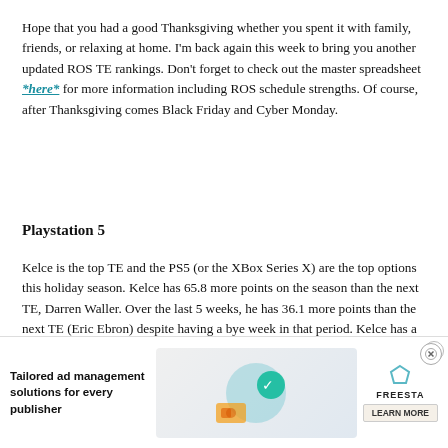Hope that you had a good Thanksgiving whether you spent it with family, friends, or relaxing at home. I'm back again this week to bring you another updated ROS TE rankings. Don't forget to check out the master spreadsheet *here* for more information including ROS schedule strengths. Of course, after Thanksgiving comes Black Friday and Cyber Monday.
Playstation 5
Kelce is the top TE and the PS5 (or the XBox Series X) are the top options this holiday season. Kelce has 65.8 more points on the season than the next TE, Darren Waller. Over the last 5 weeks, he has 36.1 more points than the next TE (Eric Ebron) despite having a bye week in that period. Kelce has a couple less than ideal match ups versus the Broncos and Dolphins but has an elite one vs. the Saints and a championship
[Figure (other): Advertisement banner at the bottom of the page: 'Tailored ad management solutions for every publisher' with a graphic and FREESTA (Freestar) branding and a LEARN MORE button. Overlaid on the article content.]